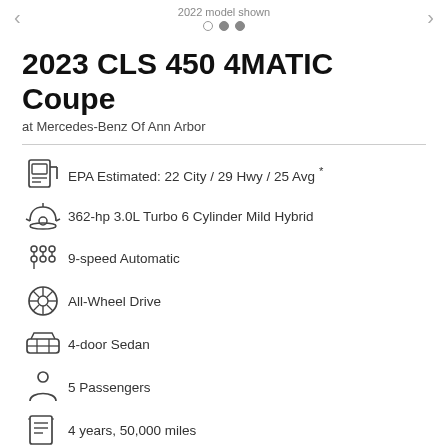2022 model shown
2023 CLS 450 4MATIC Coupe
at Mercedes-Benz Of Ann Arbor
EPA Estimated: 22 City / 29 Hwy / 25 Avg *
362-hp 3.0L Turbo 6 Cylinder Mild Hybrid
9-speed Automatic
All-Wheel Drive
4-door Sedan
5 Passengers
4 years, 50,000 miles